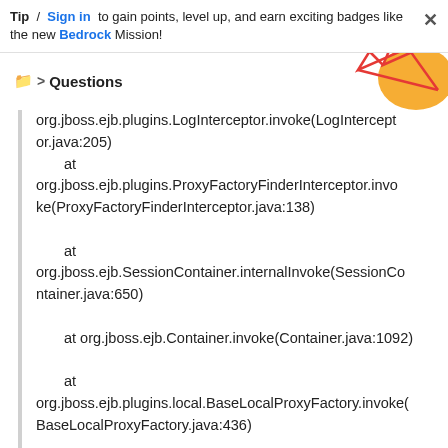Tip / Sign in to gain points, level up, and earn exciting badges like the new Bedrock Mission!
Questions
[Figure (illustration): Decorative geometric/abstract graphic in red lines and orange shape, top-right corner]
org.jboss.ejb.plugins.LogInterceptor.invoke(LogInterceptor.java:205)
    at org.jboss.ejb.plugins.ProxyFactoryFinderInterceptor.invoke(ProxyFactoryFinderInterceptor.java:138)
    at org.jboss.ejb.SessionContainer.internalInvoke(SessionContainer.java:650)
    at org.jboss.ejb.Container.invoke(Container.java:1092)
    at org.jboss.ejb.plugins.local.BaseLocalProxyFactory.invoke(BaseLocalProxyFactory.java:436)
    at
    org.jboss.ejb.plugins.local.StatelessSessionProxy.invoke(S